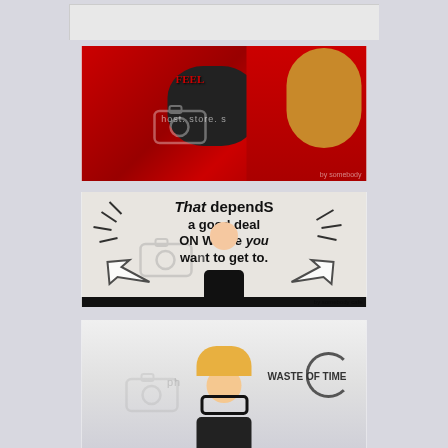[Figure (photo): Blank gray/white rectangle at top center]
[Figure (photo): Photo of a girl peeking through a hole in a red curtain, with 'FEEL' text overlay and Photobucket watermark]
[Figure (photo): Image with quote text 'That depends a good deal ON Where you want to get to.' overlaid on gray background with a girl in black outfit standing in center, arrows on sides, Photobucket watermark]
[Figure (photo): Photo of a girl with blonde hair and glasses in a light gray background, with circular swirl graphic and text overlay, Photobucket watermark]